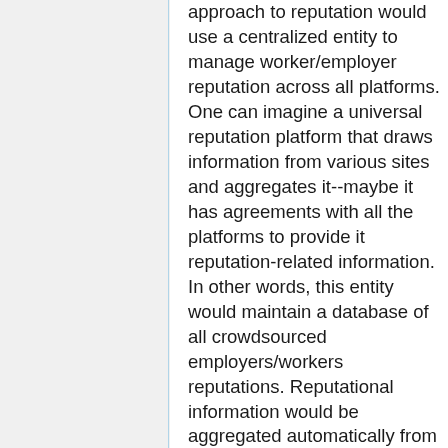approach to reputation would use a centralized entity to manage worker/employer reputation across all platforms. One can imagine a universal reputation platform that draws information from various sites and aggregates it--maybe it has agreements with all the platforms to provide it reputation-related information. In other words, this entity would maintain a database of all crowdsourced employers/workers reputations. Reputational information would be aggregated automatically from all participating crowdsourcing platforms, which would automatically submit data to this entity. Theoretically, employers and workers could consult this platform to determine worker reputations. To